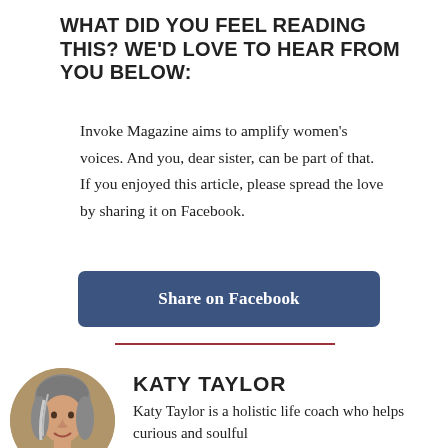WHAT DID YOU FEEL READING THIS? WE'D LOVE TO HEAR FROM YOU BELOW:
Invoke Magazine aims to amplify women's voices. And you, dear sister, can be part of that. If you enjoyed this article, please spread the love by sharing it on Facebook.
Share on Facebook
KATY TAYLOR
Katy Taylor is a holistic life coach who helps curious and soulful